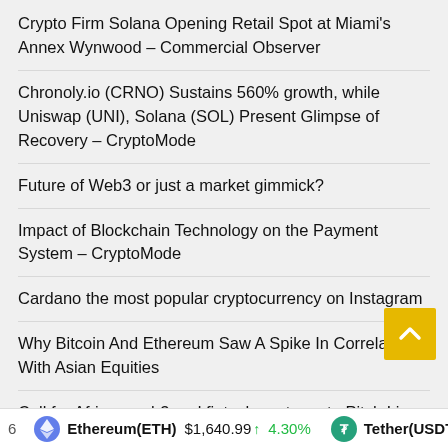Crypto Firm Solana Opening Retail Spot at Miami's Annex Wynwood – Commercial Observer
Chronoly.io (CRNO) Sustains 560% growth, while Uniswap (UNI), Solana (SOL) Present Glimpse of Recovery – CryptoMode
Future of Web3 or just a market gimmick?
Impact of Blockchain Technology on the Payment System – CryptoMode
Cardano the most popular cryptocurrency on Instagram
Why Bitcoin And Ethereum Saw A Spike In Correlation With Asian Equities
Call for African web3 and fintech ventures to Pitch Live at the Africa Money & DeFi Summit West Africa 2022
Ethereum(ETH) $1,640.99 ↑ 4.30%   Tether(USDT) $1